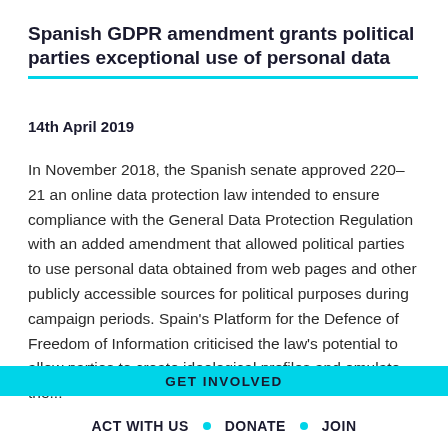Spanish GDPR amendment grants political parties exceptional use of personal data
14th April 2019
In November 2018, the Spanish senate approved 220–21 an online data protection law intended to ensure compliance with the General Data Protection Regulation with an added amendment that allowed political parties to use personal data obtained from web pages and other publicly accessible sources for political purposes during campaign periods. Spain's Platform for the Defence of Freedom of Information criticised the law's potential to allow parties to create ideological profiles and emulate the…
GET INVOLVED  ACT WITH US  •  DONATE  •  JOIN